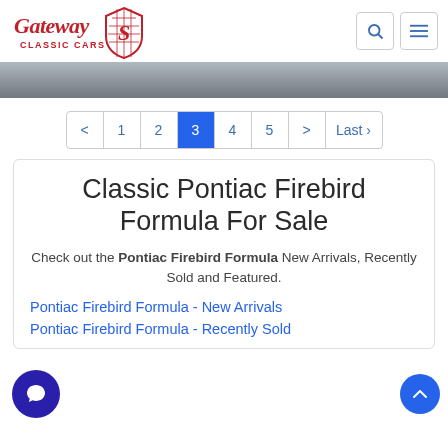Gateway Classic Cars
[Figure (screenshot): Partial view of a car, dark hero image strip]
< 1 2 3 4 5 > Last›
Classic Pontiac Firebird Formula For Sale
Check out the Pontiac Firebird Formula New Arrivals, Recently Sold and Featured.
Pontiac Firebird Formula - New Arrivals
Pontiac Firebird Formula - Recently Sold